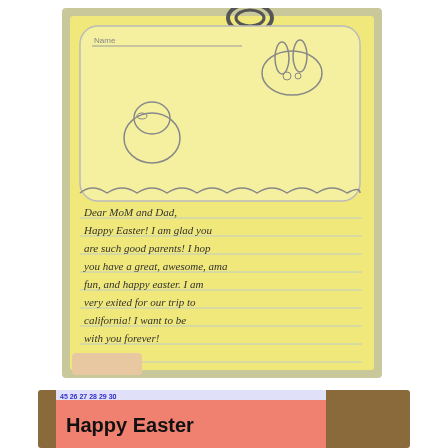[Figure (photo): Photo of a child's handwritten Easter letter on yellow lined paper with a decorative border featuring a bunny and chick drawing. The letter reads: 'Dear MoM and Dad, Happy Easter! I am glad you are such good parents! I hope you have a great, awesome, amazing, fun, and happy easter. I am very exited for our trip to california! I want to be with you forever!' A child's hand is visible at the bottom.]
[Figure (photo): Partial photo of a pink Easter card with 'Happy Easter' written in black marker, with decorative drawings visible at the bottom. A calendar strip is visible at the top showing numbers including 45, 26, 27, 28, 29, 30.]